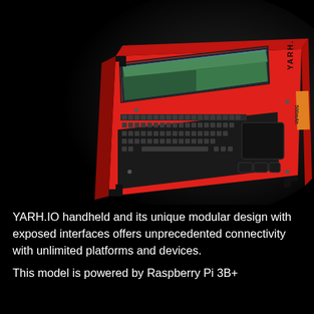[Figure (photo): A red rugged handheld computer device labeled YARH.IO with a small screen showing a mountain/forest scene, a full QWERTY keyboard, and a touchpad. The device has a modular design with exposed corner brackets and visible screw hardware. Photographed on a black background with a soft glow/vignette effect.]
YARH.IO handheld and its unique modular design with exposed interfaces offers unprecedented connectivity with unlimited platforms and devices.
This model is powered by Raspberry Pi 3B+